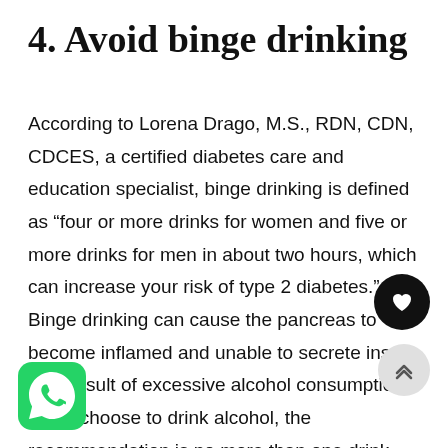4. Avoid binge drinking
According to Lorena Drago, M.S., RDN, CDN, CDCES, a certified diabetes care and education specialist, binge drinking is defined as “four or more drinks for women and five or more drinks for men in about two hours, which can increase your risk of type 2 diabetes.” Binge drinking can cause the pancreas to become inflamed and unable to secrete insulin as a result of excessive alcohol consumption. If you choose to drink alcohol, the recommendation is no more than one drink per day for women and two drinks per day for men. One drink is defined as 12 fluid ounces of beer, 5 fluid ounces of wine, or 1.5 ounces of 80-proof liquor like rum or vodka.